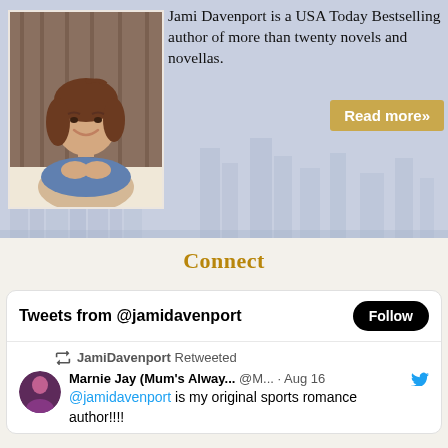[Figure (photo): Author photo of Jami Davenport, a smiling woman with brown hair wearing a denim jacket, with a city skyline background]
Jami Davenport is a USA Today Bestselling author of more than twenty novels and novellas.
Read more»
Connect
Tweets from @jamidavenport
Follow
JamiDavenport Retweeted
Marnie Jay (Mum's Alway... @M... · Aug 16
@jamidavenport is my original sports romance author!!!!